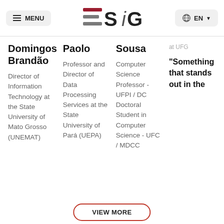MENU | ESIG | EN
Domingos Brandão
Director of Information Technology at the State University of Mato Grosso (UNEMAT)
Paolo
Professor and Director of Data Processing Services at the State University of Pará (UEPA)
Sousa
Computer Science Professor - UFPI / DC Doctoral Student in Computer Science - UFC / MDCC
at UFG
“Something that stands out in the